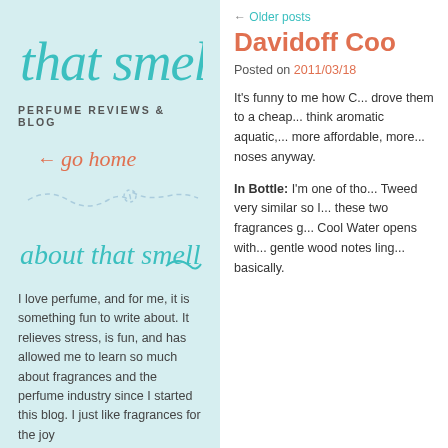that smell
PERFUME REVIEWS & BLOG
← go home
[Figure (illustration): Dashed squiggle line with small loop, decorative divider]
about that smell
I love perfume, and for me, it is something fun to write about. It relieves stress, is fun, and has allowed me to learn so much about fragrances and the perfume industry since I started this blog. I just like fragrances for the joy
← Older posts
Davidoff Coo
Posted on 2011/03/18
It's funny to me how C... drove them to a cheap... think aromatic aquatic,... more affordable, more... noses anyway.
In Bottle: I'm one of tho... Tweed very similar so I... these two fragrances g... Cool Water opens with... gentle wood notes ling... basically.